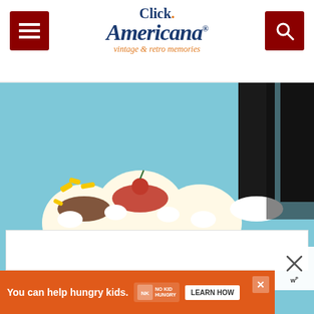Click Americana — vintage & retro memories
[Figure (photo): Vintage Dairy Queen advertisement showing a banana split sundae with whipped cream and toppings, a Dairy Queen logo in red, illustrated characters of a chimp and children running, various ice cream treats, and a Dairy Queen store. Text reads: HURRY! Order Mr. Astro-Chimp at this special price! ORDER BLANKS AVAILABLE ONLY AT DAIRY QUEEN STORES DISPLAYING THIS ADVERTISEMENT. Enjoy these delicious taste treats at....]
WHAT'S NEXT → See 10 old-fashioned g...
You can help hungry kids.
LEARN HOW